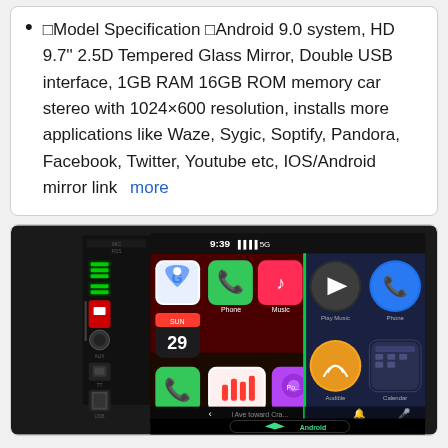□Model Specification □Android 9.0 system, HD 9.7'' 2.5D Tempered Glass Mirror, Double USB interface, 1GB RAM 16GB ROM memory car stereo with 1024×600 resolution, installs more applications like Waze, Sygic, Soptify, Pandora, Facebook, Twitter, Youtube etc, IOS/Android mirror link   more
[Figure (photo): Car stereo head unit showing Apple CarPlay and Android Auto interface with apps including Phone, Music, Google Maps, Now Playing, Play Music, Audible, Calendar on screen. Badge showing rank 8. Android logo visible at bottom.]